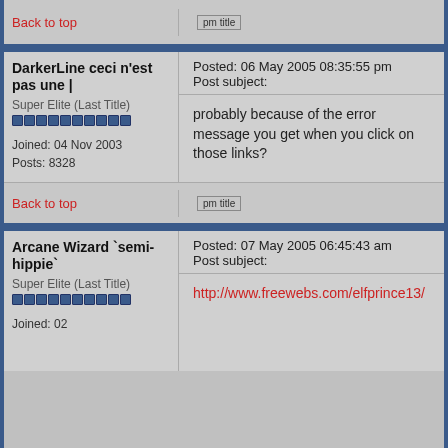Back to top
DarkerLine ceci n'est pas une |
Posted: 06 May 2005 08:35:55 pm    Post subject:
probably because of the error message you get when you click on those links?
Super Elite (Last Title)
Joined: 04 Nov 2003
Posts: 8328
Back to top
Arcane Wizard `semi-hippie`
Posted: 07 May 2005 06:45:43 am    Post subject:
http://www.freewebs.com/elfprince13/
Super Elite (Last Title)
Joined: 02